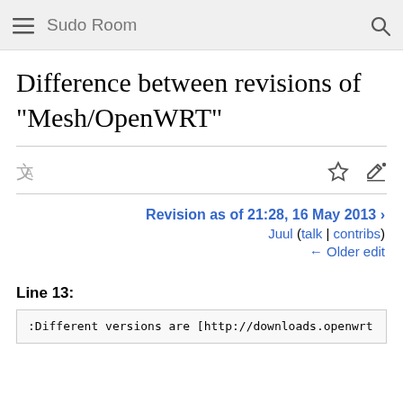Sudo Room
Difference between revisions of "Mesh/OpenWRT"
Revision as of 21:28, 16 May 2013 · Juul (talk | contribs) ← Older edit
Line 13:
:Different versions are [http://downloads.openwrt